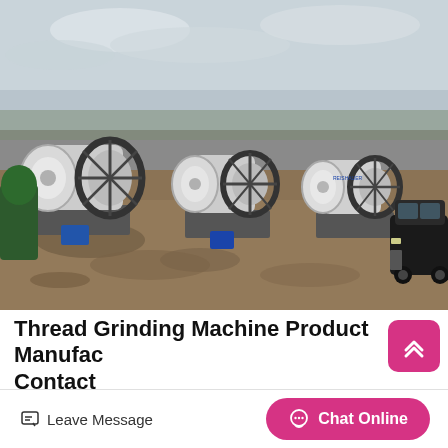[Figure (photo): Outdoor industrial scene showing three large ball mill grinding machines on concrete bases, with a dark SUV parked on the right side and an overcast sky in the background. Ground is dusty/dirt with some rubble.]
Thread Grinding Machine Product Manufacturers Contact
Reishauer Ul2000 Thread Grinder Machine For Sale ₹ 1/
Leave Message
Chat Online